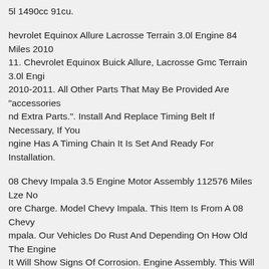5l 1490cc 91cu.
hevrolet Equinox Allure Lacrosse Terrain 3.0l Engine 84 Miles 2010 11. Chevrolet Equinox Buick Allure, Lacrosse Gmc Terrain 3.0l Engine 2010-2011. All Other Parts That May Be Provided Are "accessories nd Extra Parts.". Install And Replace Timing Belt If Necessary, If Your ngine Has A Timing Chain It Is Set And Ready For Installation.
08 Chevy Impala 3.5 Engine Motor Assembly 112576 Miles Lze No ore Charge. Model Chevy Impala. This Item Is From A 08 Chevy mpala. Our Vehicles Do Rust And Depending On How Old The Engine It Will Show Signs Of Corrosion. Engine Assembly. This Will Indicate The Engine Has Been Overheated.
016 Chevrolet Malibu 1.5l Engine Motor 4cyl Oem 82k Miles kq~311061569)